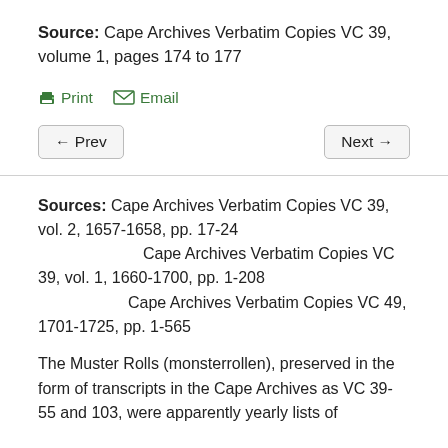Source: Cape Archives Verbatim Copies VC 39, volume 1, pages 174 to 177
Print  Email
← Prev    Next →
Sources: Cape Archives Verbatim Copies VC 39, vol. 2, 1657-1658, pp. 17-24
          Cape Archives Verbatim Copies VC 39, vol. 1, 1660-1700, pp. 1-208
          Cape Archives Verbatim Copies VC 49, 1701-1725, pp. 1-565
The Muster Rolls (monsterrollen), preserved in the form of transcripts in the Cape Archives as VC 39-55 and 103, were apparently yearly lists of